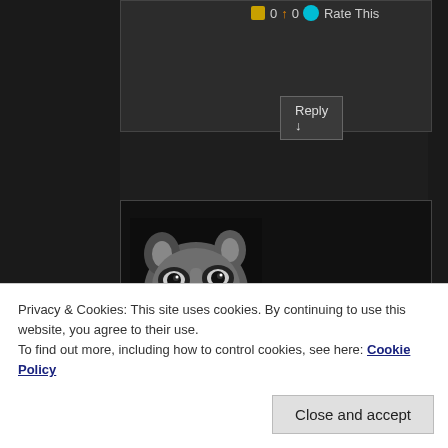Reply ↓
[Figure (photo): Avatar photo of a raccoon face against dark background]
HoaiPhai on May 13, 2012 at 8:45 AM said:
I'm with Joe… absolutely gorgeous. And thank you so much for letting us know about The Photographer's Ephemeris. I'm not sure if my cellphone has a compatible operating system but
Privacy & Cookies: This site uses cookies. By continuing to use this website, you agree to their use.
To find out more, including how to control cookies, see here: Cookie Policy
Close and accept